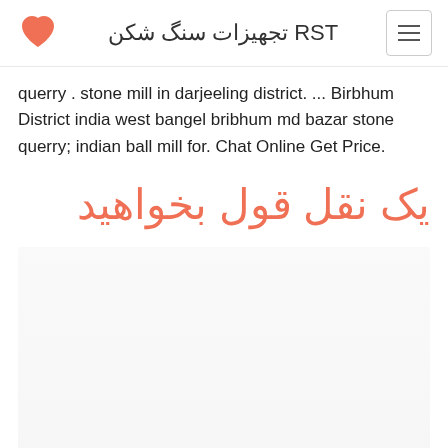RST تجهیزات سنگ شکن
querry . stone mill in darjeeling district. ... Birbhum District india west bangel bribhum md bazar stone querry; indian ball mill for. Chat Online Get Price.
یک نقل قول بخواهید